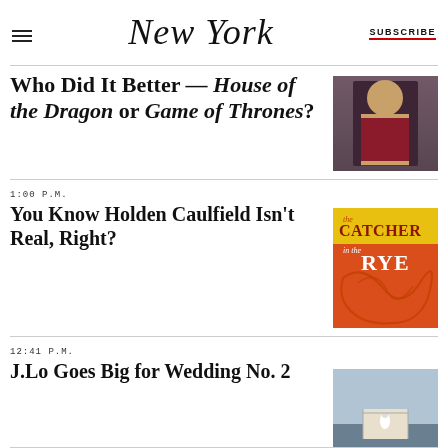New York | SUBSCRIBE
Who Did It Better — House of the Dragon or Game of Thrones?
[Figure (photo): TV show still from House of the Dragon or Game of Thrones showing a regal figure in ornate costume]
1:00 P.M.
You Know Holden Caulfield Isn't Real, Right?
[Figure (photo): Book cover of The Catcher in the Rye with orange illustration]
12:41 P.M.
J.Lo Goes Big for Wedding No. 2
[Figure (photo): Aerial view of a wedding scene on a bridge or walkway in white]